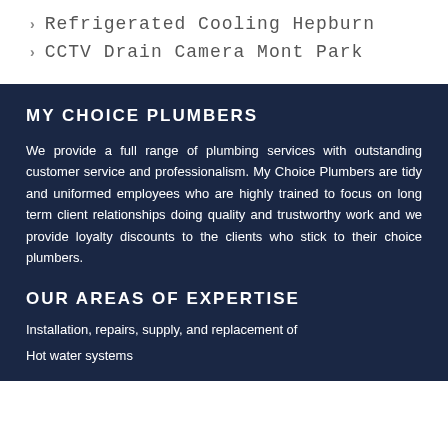Refrigerated Cooling Hepburn
CCTV Drain Camera Mont Park
MY CHOICE PLUMBERS
We provide a full range of plumbing services with outstanding customer service and professionalism. My Choice Plumbers are tidy and uniformed employees who are highly trained to focus on long term client relationships doing quality and trustworthy work and we provide loyalty discounts to the clients who stick to their choice plumbers.
OUR AREAS OF EXPERTISE
Installation, repairs, supply, and replacement of
Hot water systems